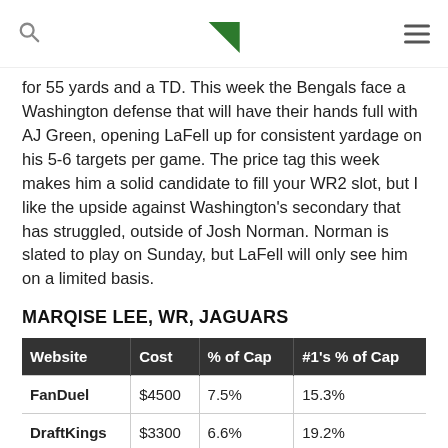[logo: D] [search icon] [menu icon]
for 55 yards and a TD. This week the Bengals face a Washington defense that will have their hands full with AJ Green, opening LaFell up for consistent yardage on his 5-6 targets per game. The price tag this week makes him a solid candidate to fill your WR2 slot, but I like the upside against Washington's secondary that has struggled, outside of Josh Norman. Norman is slated to play on Sunday, but LaFell will only see him on a limited basis.
MARQISE LEE, WR, JAGUARS
| Website | Cost | % of Cap | #1's % of Cap |
| --- | --- | --- | --- |
| FanDuel | $4500 | 7.5% | 15.3% |
| DraftKings | $3300 | 6.6% | 19.2% |
It appears Lee has surpassed Hurns as the WR2 from a production standpoint, and he has averaged at least seven targets a game over the past five weeks. While he